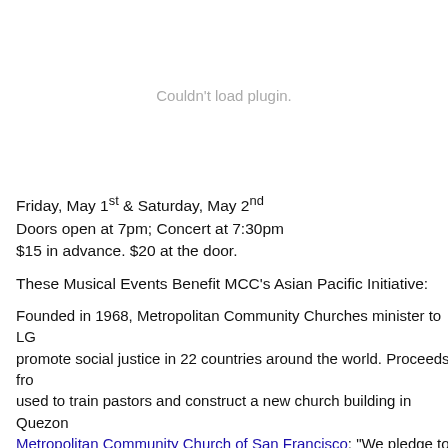[Figure (other): Plugin placeholder area showing 'Couldn't load plugin.' message in gray text]
Friday, May 1st & Saturday, May 2nd
Doors open at 7pm; Concert at 7:30pm
$15 in advance. $20 at the door.
These Musical Events Benefit MCC's Asian Pacific Initiative:
Founded in 1968, Metropolitan Community Churches minister to LG… promote social justice in 22 countries around the world. Proceeds fr… used to train pastors and construct a new church building in Quezon… Metropolitan Community Church of San Francisco: “We pledge to do… intentionship, building relationships with the API/LGBT community…